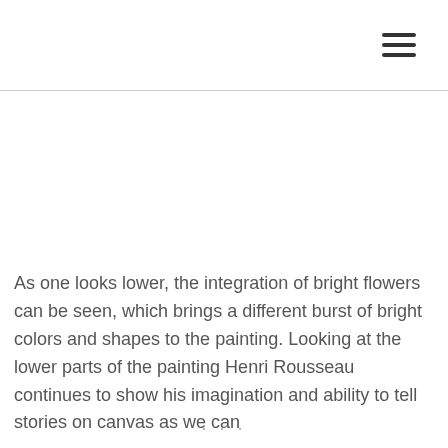≡
As one looks lower, the integration of bright flowers can be seen, which brings a different burst of bright colors and shapes to the painting. Looking at the lower parts of the painting Henri Rousseau continues to show his imagination and ability to tell stories on canvas as we can